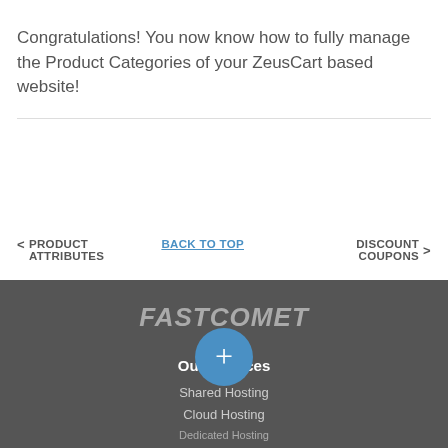Congratulations! You now know how to fully manage the Product Categories of your ZeusCart based website!
< PRODUCT ATTRIBUTES
BACK TO TOP
DISCOUNT COUPONS >
[Figure (logo): FastComet logo in grey italic bold text on dark grey background]
Our Services
Shared Hosting
Cloud Hosting
[Figure (other): Blue circular plus button overlay]